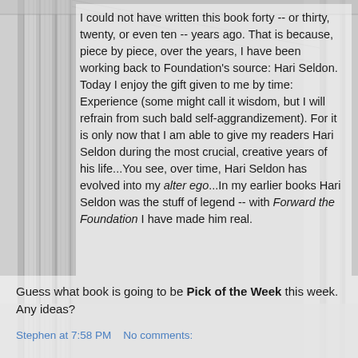I could not have written this book forty -- or thirty, twenty, or even ten -- years ago. That is because, piece by piece, over the years, I have been working back to Foundation's source: Hari Seldon. Today I enjoy the gift given to me by time: Experience (some might call it wisdom, but I will refrain from such bald self-aggrandizement). For it is only now that I am able to give my readers Hari Seldon during the most crucial, creative years of his life...You see, over time, Hari Seldon has evolved into my alter ego...In my earlier books Hari Seldon was the stuff of legend -- with Forward the Foundation I have made him real.
Guess what book is going to be Pick of the Week this week. Any ideas?
Stephen at 7:58 PM    No comments: